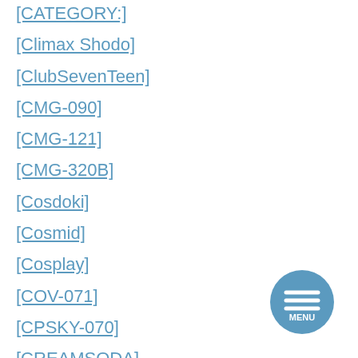[CATEGORY:]
[Climax Shodo]
[ClubSevenTeen]
[CMG-090]
[CMG-121]
[CMG-320B]
[Cosdoki]
[Cosmid]
[Cosplay]
[COV-071]
[CPSKY-070]
[CREAMSODA]
[CzechCheeks.Com]
[Figure (other): Circular menu button with three horizontal lines and the word MENU]